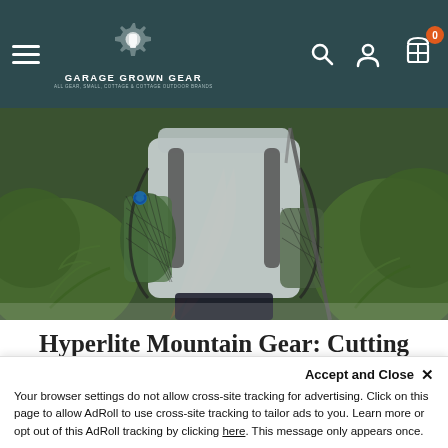Garage Grown Gear — navigation bar with hamburger menu, logo, search icon, account icon, cart icon with badge 0
[Figure (photo): Close-up back view of a hiker on a forest trail wearing a Hyperlite Mountain Gear backpack with mesh side pockets, holding trekking poles, surrounded by ferns and green foliage]
Hyperlite Mountain Gear: Cutting Dyneema, Not Corners
Accept and Close ✕
Your browser settings do not allow cross-site tracking for advertising. Click on this page to allow AdRoll to use cross-site tracking to tailor ads to you. Learn more or opt out of this AdRoll tracking by clicking here. This message only appears once.